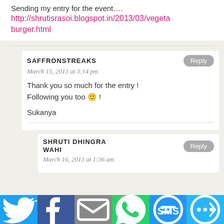Sending my entry for the event….
http://shrutisrasoi.blogspot.in/2013/03/vegeta burger.html
SAFFRONSTREAKS
March 15, 2013 at 3:14 pm
Thank you so much for the entry ! Following you too 🙂 !
Sukanya
SHRUTI DHINGRA WAHI
March 16, 2013 at 1:36 am
[Figure (infographic): Social sharing bar with Twitter, Facebook, Email, WhatsApp, SMS, and More icons]